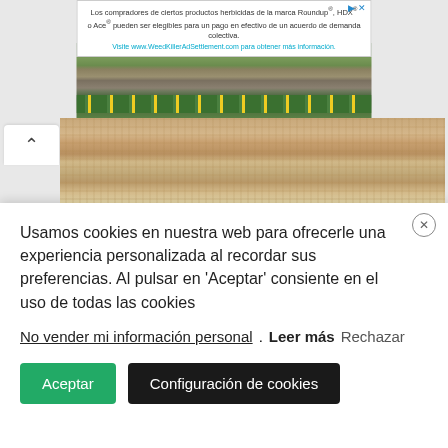[Figure (screenshot): Advertisement banner for WeedKillerAdSettlement.com with text in Spanish about Roundup herbicide class action settlement]
[Figure (photo): Garden with stone pavers and yellow wildflowers growing between them]
[Figure (photo): Close-up photograph of chunky knitted fabric in tan, brown, cream, and white tones]
[Figure (photo): Dark strip at top of second partially visible photo]
Usamos cookies en nuestra web para ofrecerle una experiencia personalizada al recordar sus preferencias. Al pulsar en ‘Aceptar’ consiente en el uso de todas las cookies
No vender mi información personal. Leer más Rechazar
Aceptar
Configuración de cookies